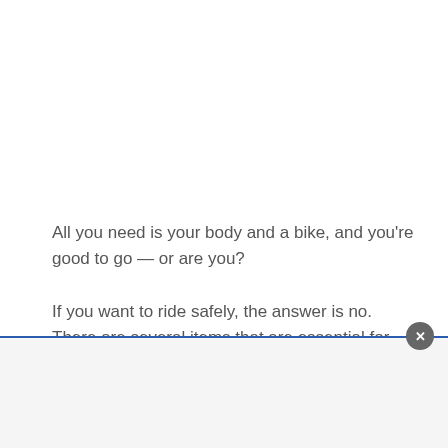All you need is your body and a bike, and you're good to go — or are you?
If you want to ride safely, the answer is no. There are several items that are essential for cyclists to take when they ride, for the sake of their safety and preparedness.